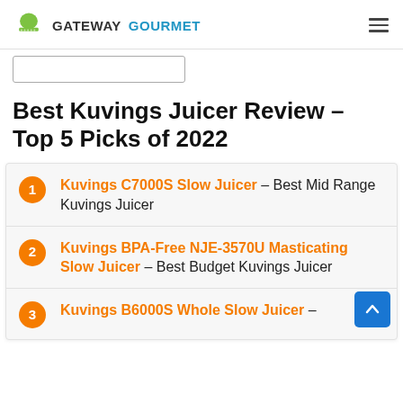GATEWAY GOURMET
Best Kuvings Juicer Review – Top 5 Picks of 2022
Kuvings C7000S Slow Juicer – Best Mid Range Kuvings Juicer
Kuvings BPA-Free NJE-3570U Masticating Slow Juicer – Best Budget Kuvings Juicer
Kuvings B6000S Whole Slow Juicer –